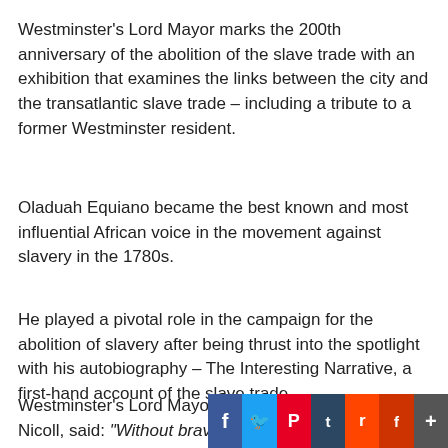Westminster's Lord Mayor marks the 200th anniversary of the abolition of the slave trade with an exhibition that examines the links between the city and the transatlantic slave trade – including a tribute to a former Westminster resident.
Oladuah Equiano became the best known and most influential African voice in the movement against slavery in the 1780s.
He played a pivotal role in the campaign for the abolition of slavery after being thrust into the spotlight with his autobiography – The Interesting Narrative, a first-hand account of the slave trade.
Westminster's Lord Mayor, Councillor Alexander Nicoll, said: “Without brave y[...], the abolition of the slave trade may have taken